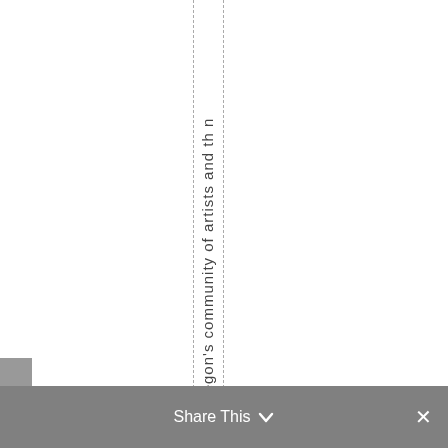Oregon's community of artists and th n
Share This ∨  ×